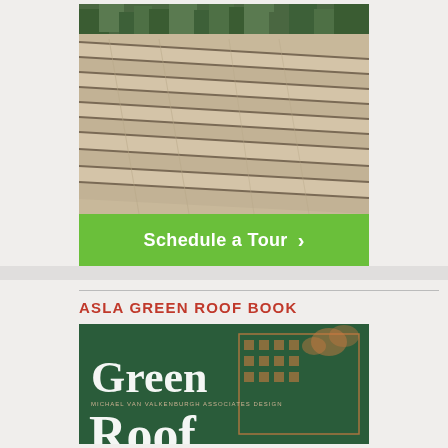[Figure (photo): Wooden deck boards with green roof plantings visible at top edge]
Schedule a Tour  ▶
ASLA GREEN ROOF BOOK
[Figure (photo): Book cover showing 'Green Roof' with green and orange illustrated building design, Michael Van Valkenburgh Associates Design]